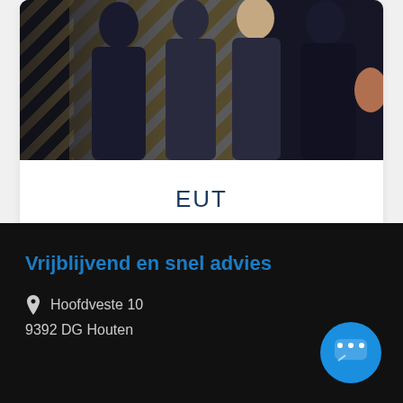[Figure (photo): Photo of people standing in front of a striped diagonal pattern background (black and gold/white stripes), figures wearing dark clothing]
EUT
Vrijblijvend en snel advies
Hoofdveste 10
9392 DG Houten